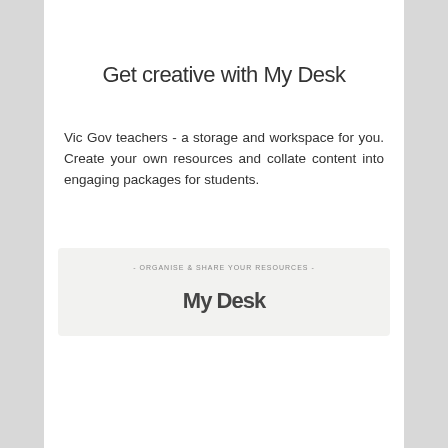Get creative with My Desk
Vic Gov teachers - a storage and workspace for you. Create your own resources and collate content into engaging packages for students.
[Figure (screenshot): Partial screenshot of a 'My Desk' interface showing the text '- ORGANISE & SHARE YOUR RESOURCES -' and the beginning of the title 'My Desk' partially visible at the bottom.]